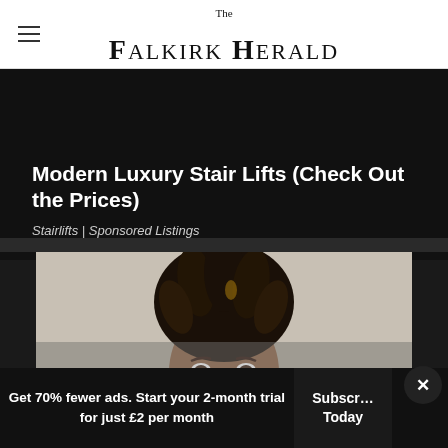The Falkirk Herald
[Figure (other): Advertisement banner for Modern Luxury Stair Lifts with black background, white bold title and italic subtitle 'Stairlifts | Sponsored Listings']
[Figure (photo): Portrait photo of a woman with dreadlocks styled in an updo bun, looking slightly downward, neutral background]
Get 70% fewer ads. Start your 2-month trial for just £2 per month
Subscribe Today